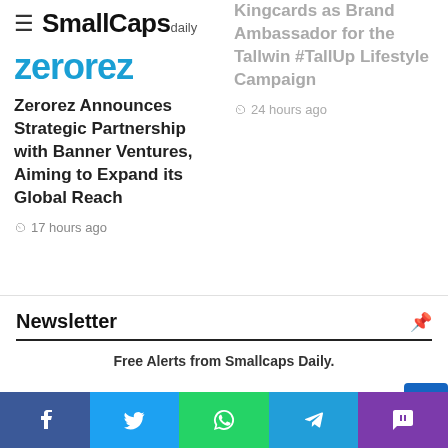SmallCaps daily
[Figure (logo): Zerorez logo in teal/blue color]
Zerorez Announces Strategic Partnership with Banner Ventures, Aiming to Expand its Global Reach
17 hours ago
Kingcards as Brand Ambassador for the Tallwin #TallUp Lifestyle Campaign
24 hours ago
Newsletter
Free Alerts from Smallcaps Daily.
Subscribe to our mailing list to ge